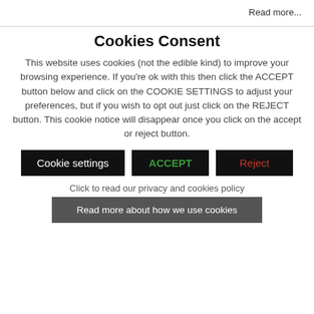Read more...
Cookies Consent
This website uses cookies (not the edible kind) to improve your browsing experience. If you're ok with this then click the ACCEPT button below and click on the COOKIE SETTINGS to adjust your preferences, but if you wish to opt out just click on the REJECT button. This cookie notice will disappear once you click on the accept or reject button.
[Figure (other): Three buttons: 'Cookie settings' (black background, white text), 'ACCEPT' (black background, green text), 'Reject' (black background, red text)]
Click to read our privacy and cookies policy
Read more about how we use cookies